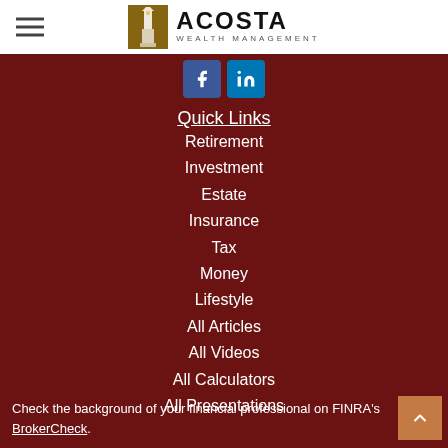[Figure (logo): Acosta Wealth Management logo with lighthouse icon and company name]
[Figure (other): Social media icons for Facebook and LinkedIn]
Quick Links
Retirement
Investment
Estate
Insurance
Tax
Money
Lifestyle
All Articles
All Videos
All Calculators
All Presentations
Check the background of your financial professional on FINRA's BrokerCheck.